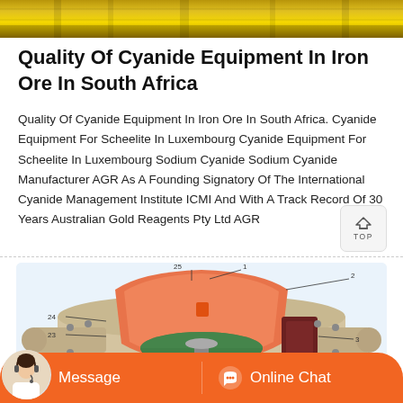[Figure (photo): Top portion of yellow industrial equipment/machinery visible at the top of the page]
Quality Of Cyanide Equipment In Iron Ore In South Africa
Quality Of Cyanide Equipment In Iron Ore In South Africa. Cyanide Equipment For Scheelite In Luxembourg Cyanide Equipment For Scheelite In Luxembourg Sodium Cyanide Sodium Cyanide Manufacturer AGR As A Founding Signatory Of The International Cyanide Management Institute ICMI And With A Track Record Of 30 Years Australian Gold Reagents Pty Ltd AGR
[Figure (engineering-diagram): Cross-section technical diagram of a cone crusher or similar industrial grinding/crushing machine, with numbered parts (1, 2, 3, 4, 20, 23, 24, 25). Shows orange bowl/mantle, green inner cone, and beige outer housing with mechanical components.]
[Figure (photo): Customer service representative (woman with headset) chat bar at bottom with orange background showing Message and Online Chat buttons]